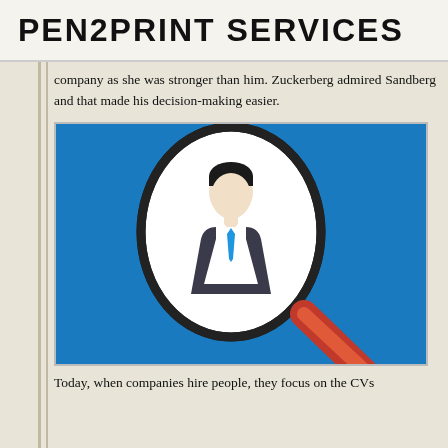PEN2PRINT SERVICES
company as she was stronger than him. Zuckerberg admired Sandberg and that made his decision-making easier.
[Figure (illustration): A magnifying glass with a dark circular rim focusing on a white oval containing a businessperson icon (person in dark suit with blue tie, light skin, dark hair) against a bright blue background. The magnifying glass handle is orange-red.]
Today, when companies hire people, they focus on the CVs